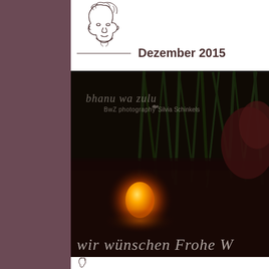[Figure (logo): Illustrated line drawing of a woman's face with decorative hair, above a horizontal line, serving as a logo]
Dezember 2015
[Figure (photo): Dark atmospheric photograph showing a glowing orange candle light on a dark red/brown surface, with dark green plant stems in the background, and the text 'bhanu wa zulu BwZ photography Silvia Schinkels' watermarked at top, and 'wir wünschen Frohe W' at the bottom in light grey script]
[Figure (logo): Small illustrated logo at the bottom of the page]